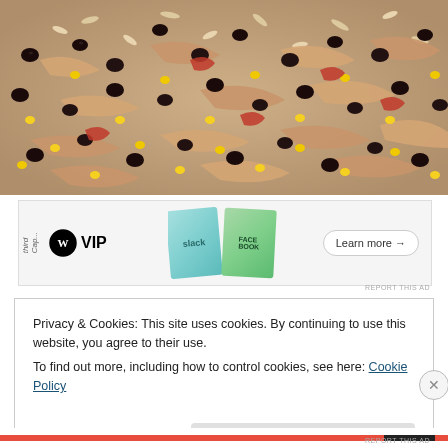[Figure (photo): Close-up photo of a rice dish with shredded chicken, black beans, corn, and diced tomatoes in a bowl]
[Figure (other): WordPress VIP advertisement banner showing WP VIP logo alongside Slack and Facebook card graphics with 'Learn more' button]
REPORT THIS AD
Privacy & Cookies: This site uses cookies. By continuing to use this website, you agree to their use.
To find out more, including how to control cookies, see here: Cookie Policy
Close and accept
REPORT THIS AD